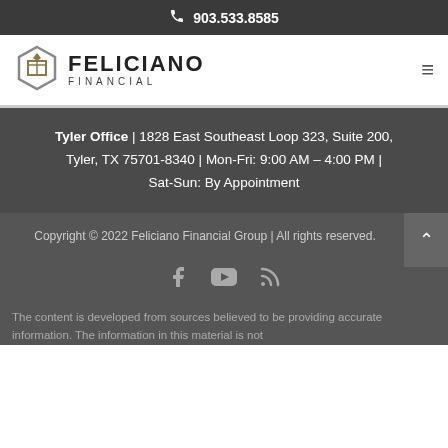903.533.8585
[Figure (logo): Feliciano Financial hexagon logo with company name]
Tyler Office  |  1828 East Southeast Loop 323, Suite 200, Tyler, TX 75701-8340  |  Mon-Fri: 9:00 AM – 4:00 PM  |  Sat-Sun: By Appointment
Copyright © 2022 Feliciano Financial Group | All rights reserved.
[Figure (infographic): Social media icons: Facebook, YouTube, RSS feed]
The content is developed from sources believed to be providing accurate information. The information in this material is not